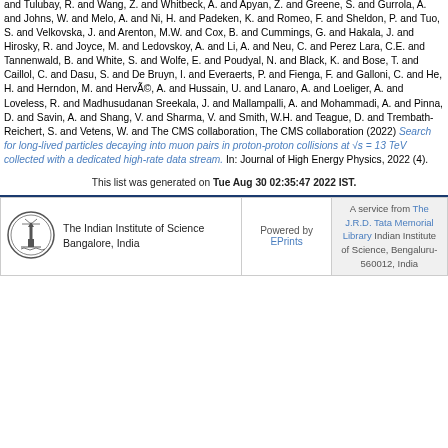and Tulubay, R. and Wang, Z. and Whitbeck, A. and Apyan, Z. and Greene, S. and Gurrola, A. and Johns, W. and Melo, A. and Ni, H. and Padeken, K. and Romeo, F. and Sheldon, P. and Tuo, S. and Velkovska, J. and Arenton, M.W. and Cox, B. and Cummings, G. and Hakala, J. and Hirosky, R. and Joyce, M. and Ledovskoy, A. and Li, A. and Neu, C. and Perez Lara, C.E. and Tannenwald, B. and White, S. and Wolfe, E. and Poudyal, N. and Black, K. and Bose, T. and Caillol, C. and Dasu, S. and De Bruyn, I. and Everaerts, P. and Fienga, F. and Galloni, C. and He, H. and Herndon, M. and Hervé, A. and Hussain, U. and Lanaro, A. and Loeliger, A. and Loveless, R. and Madhusudanan Sreekala, J. and Mallampalli, A. and Mohammadi, A. and Pinna, D. and Savin, A. and Shang, V. and Sharma, V. and Smith, W.H. and Teague, D. and Trembath-Reichert, S. and Vetens, W. and The CMS collaboration, The CMS collaboration (2022) Search for long-lived particles decaying into muon pairs in proton-proton collisions at √s = 13 TeV collected with a dedicated high-rate data stream. In: Journal of High Energy Physics, 2022 (4).
This list was generated on Tue Aug 30 02:35:47 2022 IST.
[Figure (logo): The Indian Institute of Science logo — circular emblem with lighthouse/tower]
The Indian Institute of Science Bangalore, India
Powered by EPrints
A service from The J.R.D. Tata Memorial Library Indian Institute of Science, Bengaluru-560012, India